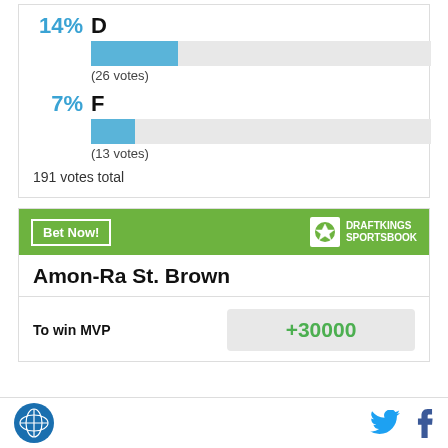[Figure (bar-chart): Poll results]
191 votes total
[Figure (infographic): DraftKings Sportsbook bet widget for Amon-Ra St. Brown to win MVP at +30000 odds]
SB Nation logo, Twitter and Facebook icons